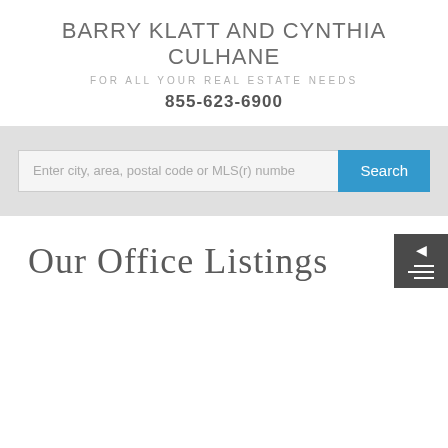BARRY KLATT AND CYNTHIA CULHANE
FOR ALL YOUR REAL ESTATE NEEDS
855-623-6900
Enter city, area, postal code or MLS(r) number
Our Office Listings